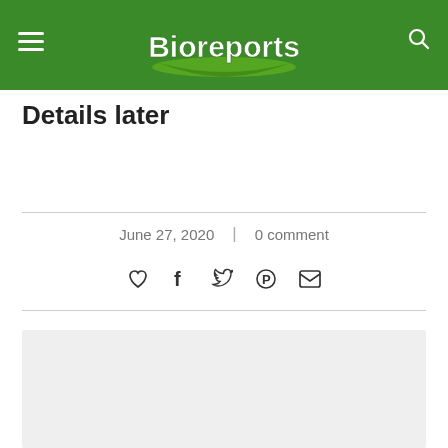Bioreports
Details later
June 27, 2020  |  0 comment
[Figure (other): Light gray advertisement/content placeholder box]